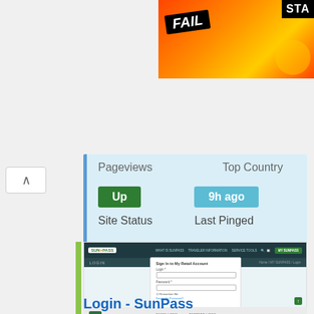[Figure (screenshot): Partial advertisement banner with FAIL text and cartoon character on orange/red background with STA text]
[Figure (screenshot): Stats card showing Pageviews, Top Country, Site Status=Up (green badge), Last Pinged=9h ago (blue badge)]
[Figure (screenshot): Screenshot of SunPass login page showing Sign In to My Retail Account form with Login and Password fields]
Login - SunPass